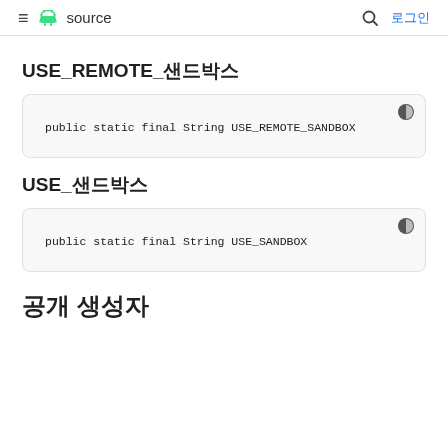≡ source  🔍 로그인
USE_REMOTE_샌드박스
public static final String USE_REMOTE_SANDBOX
USE_샌드박스
public static final String USE_SANDBOX
공개 생성자